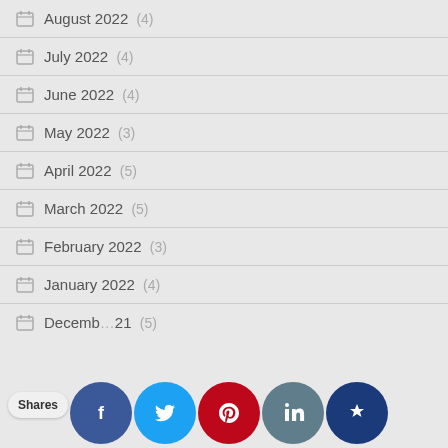August 2022 (4)
July 2022 (4)
June 2022 (4)
May 2022 (3)
April 2022 (5)
March 2022 (5)
February 2022 (3)
January 2022 (4)
December 2021 (5)